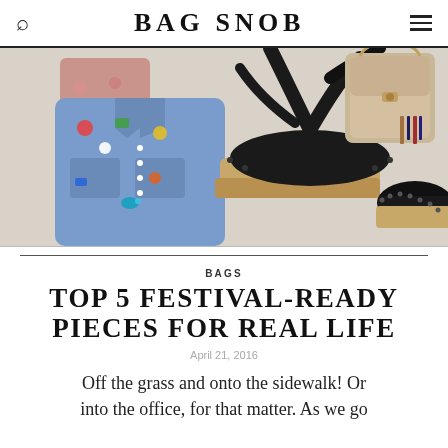BAG SNOB
[Figure (photo): Collage of festival-ready fashion items: a patched denim jacket, black leather lace-up espadrille wedge sandals, colorful tassel earrings, and a beige structured mini bag with chain handle]
BAGS
TOP 5 FESTIVAL-READY PIECES FOR REAL LIFE
April 21, 2016
Off the grass and onto the sidewalk! Or into the office, for that matter. As we go